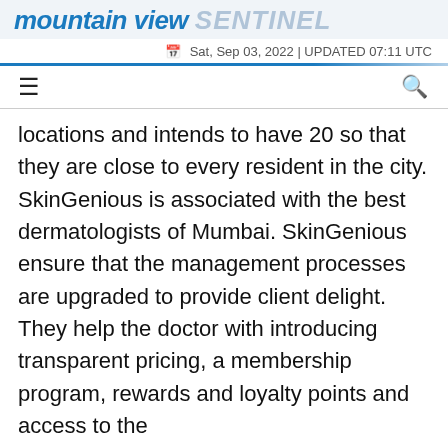mountain view SENTINEL
Sat, Sep 03, 2022 | UPDATED 07:11 UTC
locations and intends to have 20 so that they are close to every resident in the city. SkinGenious is associated with the best dermatologists of Mumbai. SkinGenious ensure that the management processes are upgraded to provide client delight. They help the doctor with introducing transparent pricing, a membership program, rewards and loyalty points and access to the